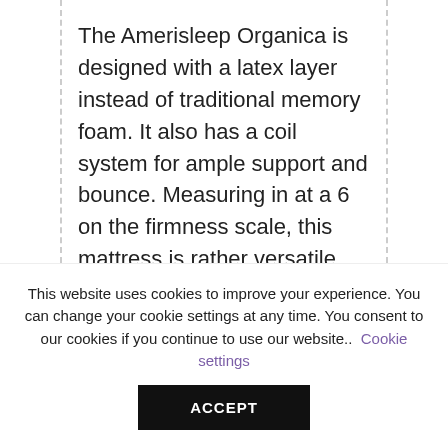The Amerisleep Organica is designed with a latex layer instead of traditional memory foam. It also has a coil system for ample support and bounce. Measuring in at a 6 on the firmness scale, this mattress is rather versatile, accommodating virtually all types of sleepers, including combination sleepers, no matter what their sleep
This website uses cookies to improve your experience. You can change your cookie settings at any time. You consent to our cookies if you continue to use our website.. Cookie settings ACCEPT